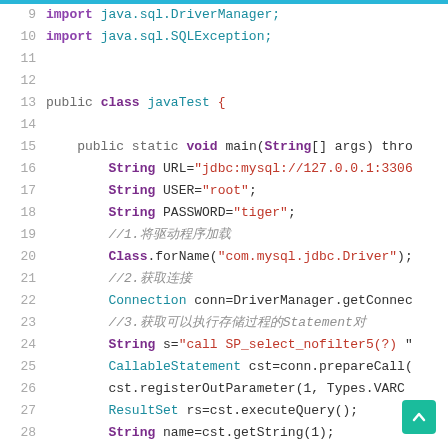[Figure (screenshot): Java source code editor screenshot showing lines 9-30 with syntax highlighting. Lines include import statements, class declaration, main method, JDBC connection setup with String URL, USER, PASSWORD, Class.forName, Connection, CallableStatement, ResultSet, and System.out.println.]